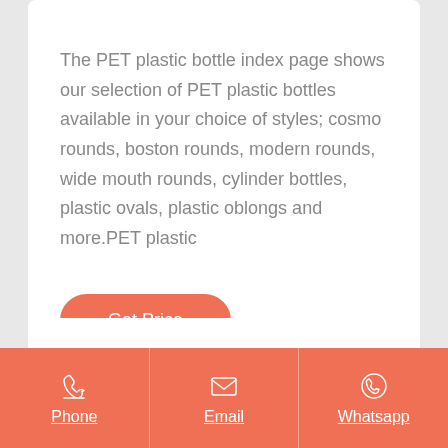The PET plastic bottle index page shows our selection of PET plastic bottles available in your choice of styles; cosmo rounds, boston rounds, modern rounds, wide mouth rounds, cylinder bottles, plastic ovals, plastic oblongs and more.PET plastic
[Figure (other): Orange rounded rectangle button with white text 'Get Price']
Phone | Email | Whatsapp